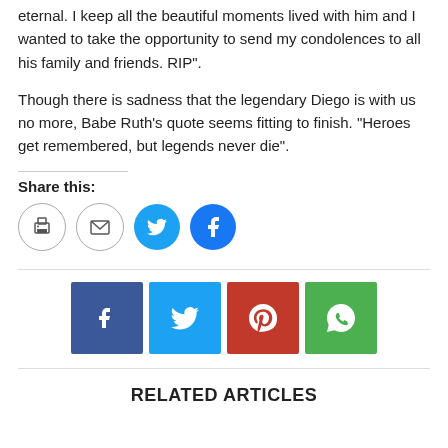eternal. I keep all the beautiful moments lived with him and I wanted to take the opportunity to send my condolences to all his family and friends. RIP".
Though there is sadness that the legendary Diego is with us no more, Babe Ruth's quote seems fitting to finish. “Heroes get remembered, but legends never die”.
Share this:
[Figure (infographic): Four social share icon buttons: print (circle outline with printer icon), email (circle outline with envelope icon), Twitter (filled blue circle with bird icon), Facebook (filled blue circle with f icon)]
[Figure (infographic): Four square social share buttons: Facebook (dark blue with f), Twitter (light blue with bird), Pinterest (red with P), WhatsApp (green with phone icon)]
RELATED ARTICLES